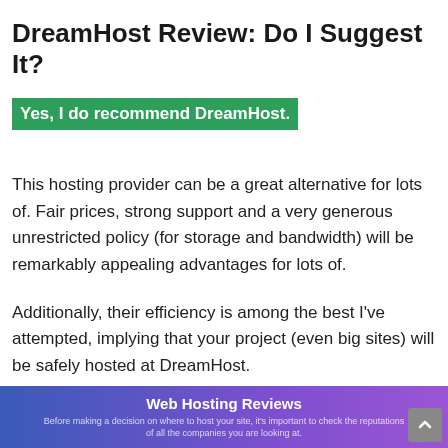DreamHost Review: Do I Suggest It?
Yes, I do recommend DreamHost.
This hosting provider can be a great alternative for lots of. Fair prices, strong support and a very generous unrestricted policy (for storage and bandwidth) will be remarkably appealing advantages for lots of.
Additionally, their efficiency is among the best I've attempted, implying that your project (even big sites) will be safely hosted at DreamHost.
Web Hosting Reviews
Before making a decision on where to host your site, it's important to check the reputations of all the companies you are looking at.